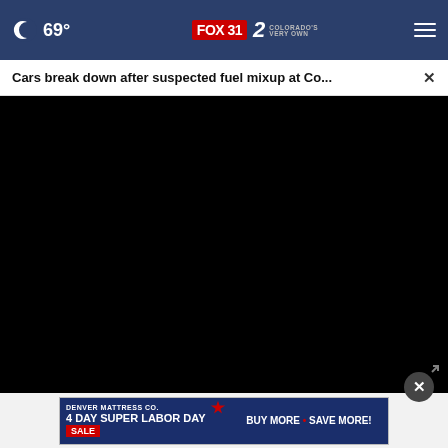69° FOX 31 2 COLORADO'S VERY OWN
Cars break down after suspected fuel mixup at Co...
[Figure (screenshot): Black video player area (video not loaded)]
00:00
[Figure (infographic): Denver Mattress Co. advertisement banner: 4 DAY SUPER LABOR DAY SALE - BUY MORE • SAVE MORE!]